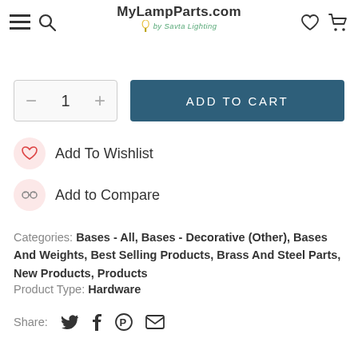MyLampParts.com by Savta Lighting
1  ADD TO CART
Add To Wishlist
Add to Compare
Categories: Bases - All, Bases - Decorative (Other), Bases And Weights, Best Selling Products, Brass And Steel Parts, New Products, Products
Product Type: Hardware
Share: